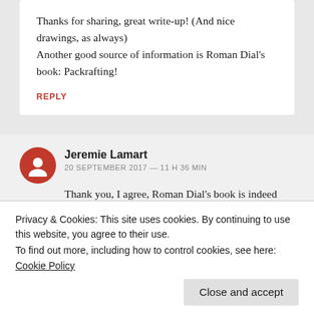Thanks for sharing, great write-up! (And nice drawings, as always)
Another good source of information is Roman Dial's book: Packrafting!
REPLY
Jeremie Lamart
20 SEPTEMBER 2017 — 11 H 36 MIN
Thank you, I agree, Roman Dial's book is indeed
Privacy & Cookies: This site uses cookies. By continuing to use this website, you agree to their use.
To find out more, including how to control cookies, see here: Cookie Policy
Close and accept